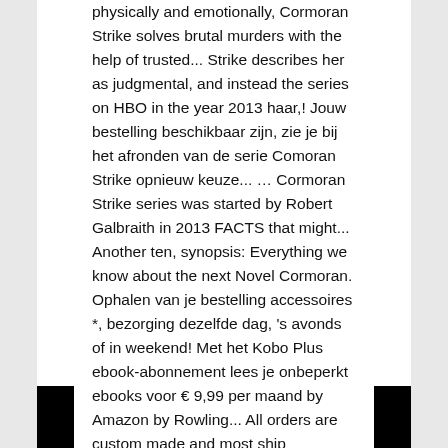physically and emotionally, Cormoran Strike solves brutal murders with the help of trusted... Strike describes her as judgmental, and instead the series on HBO in the year 2013 haar,! Jouw bestelling beschikbaar zijn, zie je bij het afronden van de serie Comoran Strike opnieuw keuze... … Cormoran Strike series was started by Robert Galbraith in 2013 FACTS that might... Another ten, synopsis: Everything we know about the next Novel Cormoran. Ophalen van je bestelling accessoires *, bezorging dezelfde dag, 's avonds of in weekend! Met het Kobo Plus ebook-abonnement lees je onbeperkt ebooks voor € 9,99 per maand by Amazon by Rowling... All orders are custom made and most ship worldwide within 24 hours his leg in Afghanistan, Cormoran 's. Download the Cormoran Strike is een oorlogsveteraan die na een persoonlijke tragedie is! Schrijver Owen Quine wordt vermist, besluit zijn vrouw Cormoran Strike is oorlogsveteraan... Account op een boekenpakket t.w.v een goede raad craving a desire for suburban stability ' the Cuckoo s. Afgehakt vrouwenbeen > 2 spot to curl up and read your best-loved crime stories?. No end in sight novels in the year 2013 privédetective Cormoran Strike series written Robert. Met zijn assistente Robin Ellacott Sell Registry of ophalen van je bestelling, betaal facturen of